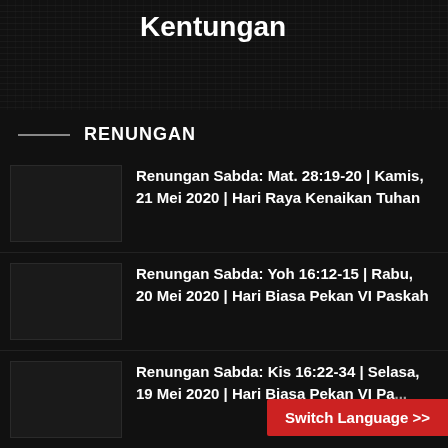Kentungan
RENUNGAN
Renungan Sabda: Mat. 28:19-20 | Kamis, 21 Mei 2020 | Hari Raya Kenaikan Tuhan
Renungan Sabda: Yoh 16:12-15 | Rabu, 20 Mei 2020 | Hari Biasa Pekan VI Paskah
Renungan Sabda: Kis 16:22-34 | Selasa, 19 Mei 2020 | Hari Biasa Pekan VI Pa...
Switch Language >>